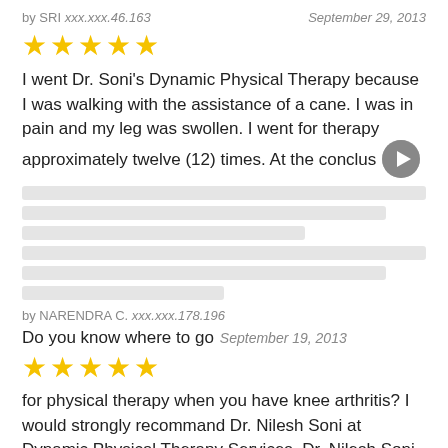by SRI xxx.xxx.46.163    September 29, 2013
[Figure (other): 5 gold star rating]
I went Dr. Soni's Dynamic Physical Therapy because I was walking with the assistance of a cane. I was in pain and my leg was swollen. I went for therapy approximately twelve (12) times. At the conclus [blurred text continues]
by NARENDRA C. xxx.xxx.178.196
Do you know where to go  September 19, 2013
[Figure (other): 5 gold star rating]
for physical therapy when you have knee arthritis? I would strongly recommand Dr. Nilesh Soni at Dynamic Physical Therapy Services. Dr. Nilesh Soni offers BEST